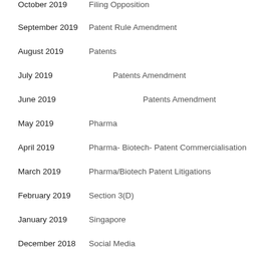October 2019 | Filing Opposition
September 2019 | Patent Rule Amendment
August 2019 | Patents
July 2019 | Patents Amendment
June 2019 | Patents Amendment
May 2019 | Pharma
April 2019 | Pharma- Biotech- Patent Commercialisation
March 2019 | Pharma/Biotech Patent Litigations
February 2019 | Section 3(D)
January 2019 | Singapore
December 2018 | Social Media